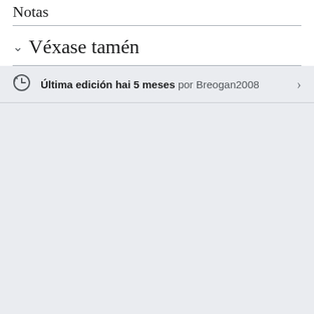Notas
Véxase tamén
Última edición hai 5 meses por Breogan2008